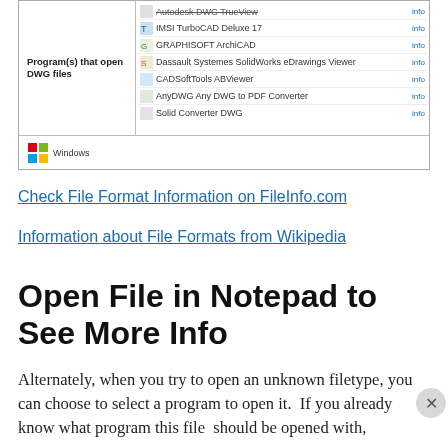[Figure (screenshot): Screenshot of a file association dialog showing programs that open DWG files on Windows, including IMSI TurboCAD Deluxe 17, GRAPHISOFT ArchiCAD, Dassault Systemes SolidWorks eDrawings Viewer, CADSoftTools ABViewer, AnyDWG Any DWG to PDF Converter, Solid Converter DWG, with a Windows logo icon.]
Check File Format Information on FileInfo.com
Information about File Formats from Wikipedia
Open File in Notepad to See More Info
Alternately, when you try to open an unknown filetype, you can choose to select a program to open it.  If you already know what program this file  should be opened with,